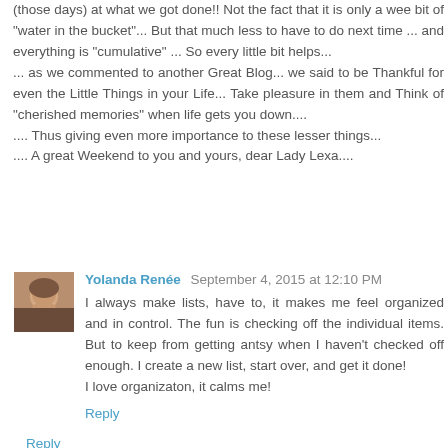(those days) at what we got done!! Not the fact that it is only a wee bit of "water in the bucket"... But that much less to have to do next time ... and everything is "cumulative" ... So every little bit helps...
... as we commented to another Great Blog... we said to be Thankful for even the Little Things in your Life... Take pleasure in them and Think of "cherished memories" when life gets you down....
.... Thus giving even more importance to these lesser things...
.... A great Weekend to you and yours, dear Lady Lexa....
Reply
Yolanda Renée  September 4, 2015 at 12:10 PM
I always make lists, have to, it makes me feel organized and in control. The fun is checking off the individual items. But to keep from getting antsy when I haven't checked off enough. I create a new list, start over, and get it done!
I love organizaton, it calms me!
Reply